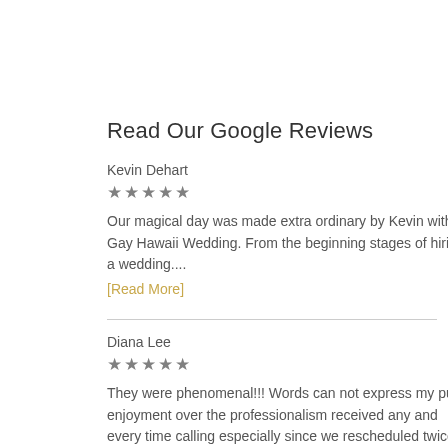Read Our Google Reviews
Kevin Dehart
★★★★★
Our magical day was made extra ordinary by Kevin with Gay Hawaii Wedding. From the beginning stages of hiring a wedding....
[Read More]
Diana Lee
★★★★★
They were phenomenal!!! Words can not express my pure enjoyment over the professionalism received any and every time calling especially since we rescheduled twice...